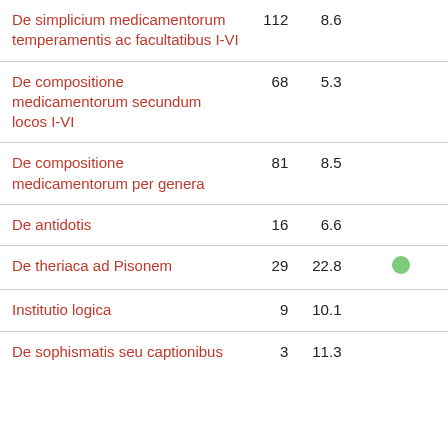| Title | Col2 | Col3 | Col4 |
| --- | --- | --- | --- |
| De simplicium medicamentorum temperamentis ac facultatibus I-VI | 112 | 8.6 |  |
| De compositione medicamentorum secundum locos I-VI | 68 | 5.3 |  |
| De compositione medicamentorum per genera | 81 | 8.5 |  |
| De antidotis | 16 | 6.6 |  |
| De theriaca ad Pisonem | 29 | 22.8 | ● |
| Institutio logica | 9 | 10.1 |  |
| De sophismatis seu captionibus | 3 | 11.3 |  |